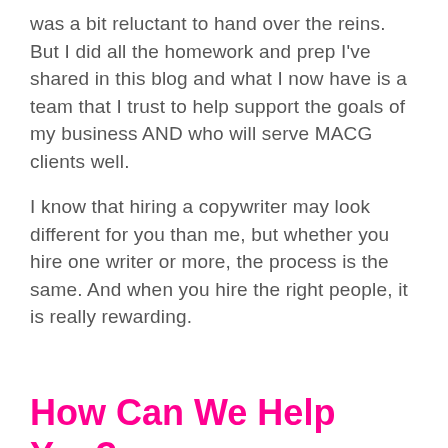was a bit reluctant to hand over the reins. But I did all the homework and prep I've shared in this blog and what I now have is a team that I trust to help support the goals of my business AND who will serve MACG clients well.
I know that hiring a copywriter may look different for you than me, but whether you hire one writer or more, the process is the same. And when you hire the right people, it is really rewarding.
How Can We Help You?
We know a LOT about content writing! It's our expertise here at Message Artist Creative